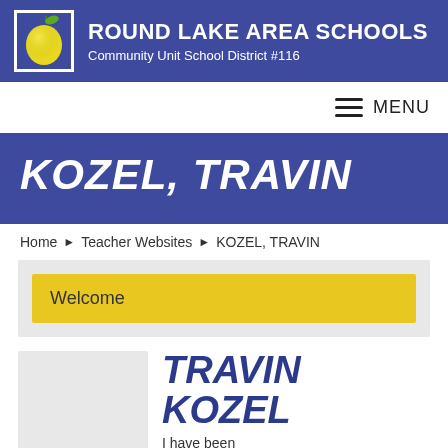ROUND LAKE AREA SCHOOLS
Community Unit School District #116
MENU
KOZEL, TRAVIN
Home ▶ Teacher Websites ▶ KOZEL, TRAVIN
Welcome
TRAVIN KOZEL
I have been